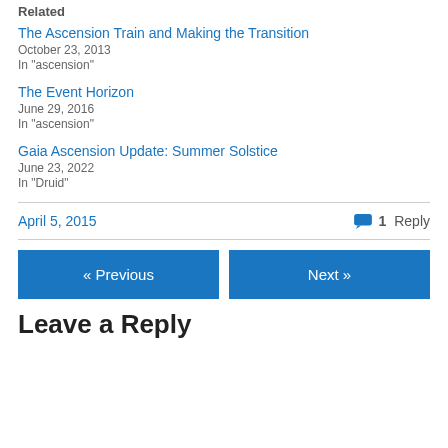Related
The Ascension Train and Making the Transition
October 23, 2013
In "ascension"
The Event Horizon
June 29, 2016
In "ascension"
Gaia Ascension Update: Summer Solstice
June 23, 2022
In "Druid"
April 5, 2015     1 Reply
« Previous     Next »
Leave a Reply